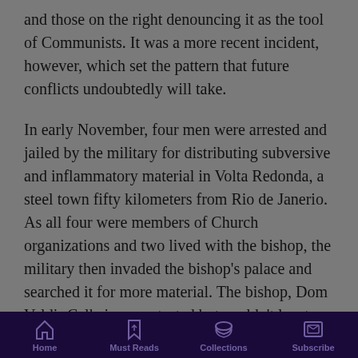and those on the right denouncing it as the tool of Communists. It was a more recent incident, however, which set the pattern that future conflicts undoubtedly will take.
In early November, four men were arrested and jailed by the military for distributing subversive and inflammatory material in Volta Redonda, a steel town fifty kilometers from Rio de Janerio. As all four were members of Church organizations and two lived with the bishop, the military then invaded the bishop's palace and searched it for more material. The bishop, Dom Valdir Calheiros, protested but couldn't locate anyone in the military command to listen to him. He therefore had an explanation printed and distributed at Mass on Sunday; the
Home | Must Reads | Collections | Subscribe